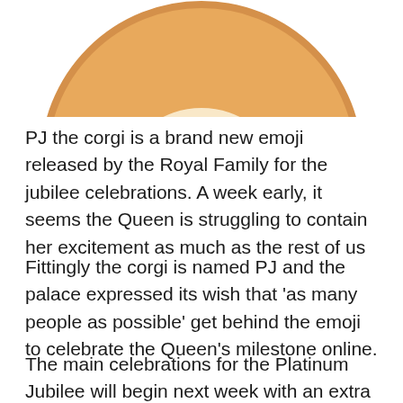[Figure (illustration): Cartoon corgi face emoji (PJ the corgi) — a round golden-orange dog face with cream muzzle, pink nose, and simple features, shown cropped at the top of the page]
PJ the corgi is a brand new emoji released by the Royal Family for the jubilee celebrations. A week early, it seems the Queen is struggling to contain her excitement as much as the rest of us
Fittingly the corgi is named PJ and the palace expressed its wish that ‘as many people as possible’ get behind the emoji to celebrate the Queen’s milestone online.
The main celebrations for the Platinum Jubilee will begin next week with an extra two days bank holiday for much of the nation.